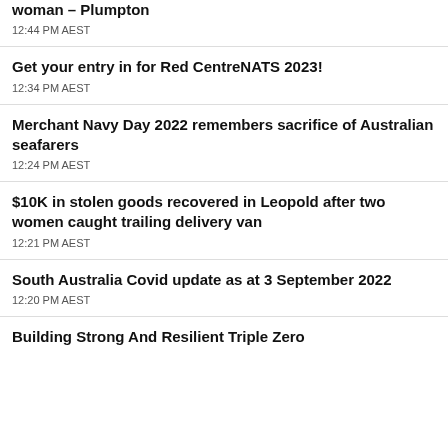woman – Plumpton
12:44 PM AEST
Get your entry in for Red CentreNATS 2023!
12:34 PM AEST
Merchant Navy Day 2022 remembers sacrifice of Australian seafarers
12:24 PM AEST
$10K in stolen goods recovered in Leopold after two women caught trailing delivery van
12:21 PM AEST
South Australia Covid update as at 3 September 2022
12:20 PM AEST
Building Strong And Resilient Triple Zero